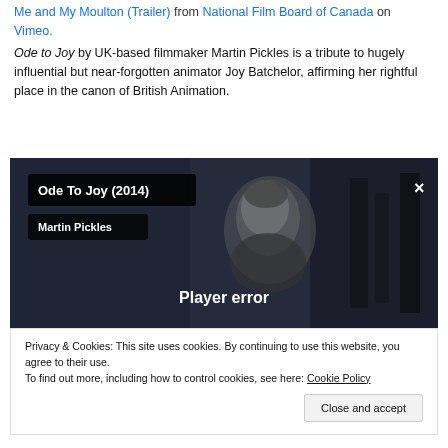Me and My Moulton (Trailer) from National Film Board of Canada on Vimeo.
Ode to Joy by UK-based filmmaker Martin Pickles is a tribute to hugely influential but near-forgotten animator Joy Batchelor, affirming her rightful place in the canon of British Animation.
[Figure (screenshot): Embedded video player showing 'Ode To Joy (2014)' by Martin Pickles with a Player error message. The still shows a black-and-white image of a woman's face.]
Privacy & Cookies: This site uses cookies. By continuing to use this website, you agree to their use. To find out more, including how to control cookies, see here: Cookie Policy